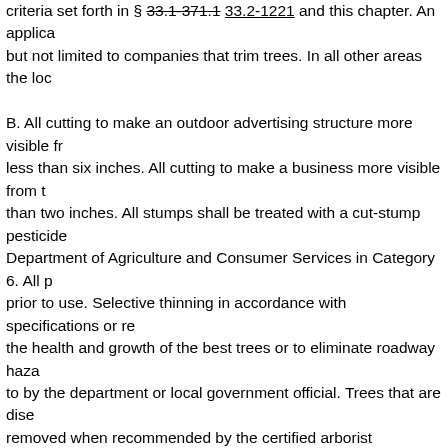criteria set forth in § 33.1-371.1 33.2-1221 and this chapter. An applica­ but not limited to companies that trim trees. In all other areas the loc­ B. All cutting to make an outdoor advertising structure more visible fr­ less than six inches. All cutting to make a business more visible from t­ than two inches. All stumps shall be treated with a cut-stump pesticide Department of Agriculture and Consumer Services in Category 6. All p­ prior to use. Selective thinning in accordance with specifications or re­ the health and growth of the best trees or to eliminate roadway haza­ to by the department or local government official. Trees that are dise­ removed when recommended by the certified arborist supervising the­ removal is recommended by the certified arborist and approved by th­ landscape plan to replace vegetation removed to the inspector or loc­ The certified arborist and the department or local government officia­ shall plant, at his expense, all replacement vegetation at the locations­ establishment period for replacement vegetation shall be in accordan­ outdoor advertising sign more visible from the roadway will be permit­ pruning of vegetation to make a business more visible from the road­ diameter. No leader branches shall be cut off in such a manner as to­ certified arborist and approved by the department or local governmer­ or other small flowering trees on the site shall not be removed. The